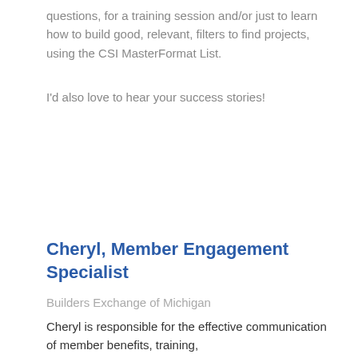questions, for a training session and/or just to learn how to build good, relevant, filters to find projects, using the CSI MasterFormat List.
I'd also love to hear your success stories!
Cheryl, Member Engagement Specialist
Builders Exchange of Michigan
Cheryl is responsible for the effective communication of member benefits, training,